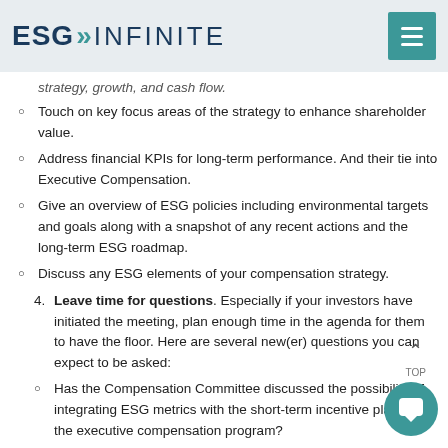ESG>> INFINITE
strategy, growth, and cash flow.
Touch on key focus areas of the strategy to enhance shareholder value.
Address financial KPIs for long-term performance. And their tie into Executive Compensation.
Give an overview of ESG policies including environmental targets and goals along with a snapshot of any recent actions and the long-term ESG roadmap.
Discuss any ESG elements of your compensation strategy.
Leave time for questions. Especially if your investors have initiated the meeting, plan enough time in the agenda for them to have the floor. Here are several new(er) questions you can expect to be asked:
Has the Compensation Committee discussed the possibility of integrating ESG metrics with the short-term incentive plan within the executive compensation program?
When is management planning to set targets for